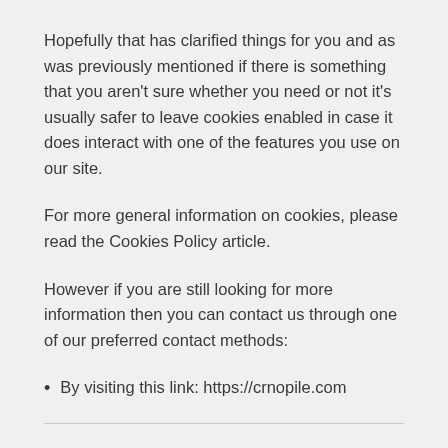Hopefully that has clarified things for you and as was previously mentioned if there is something that you aren't sure whether you need or not it's usually safer to leave cookies enabled in case it does interact with one of the features you use on our site.
For more general information on cookies, please read the Cookies Policy article.
However if you are still looking for more information then you can contact us through one of our preferred contact methods:
By visiting this link: https://crnopile.com
Generated using Cookies Policy Generator